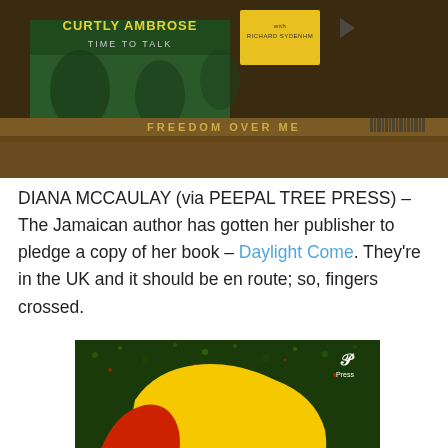[Figure (photo): Photo of book spines stacked on a shelf including 'Curtly Ambrose: Time to Talk' and 'Freedom Over Me']
DIANA MCCAULAY (via PEEPAL TREE PRESS) – The Jamaican author has gotten her publisher to pledge a copy of her book – Daylight Come. They're in the UK and it should be en route; so, fingers crossed.
[Figure (photo): Book cover of 'Daylight Come' by Diana McCaulay, published by Peepal Tree Press. Cover shows a yellow background with a silhouette map in red and green, with 'DIANA McCAULAY' in bold black text and 'DAYLIGHT COME' in large mixed red, white, and green letters.]